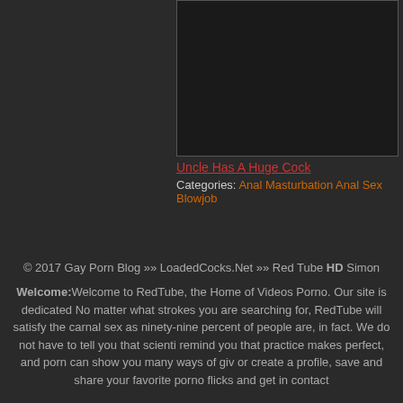[Figure (photo): Dark video thumbnail placeholder]
Uncle Has A Huge Cock
Categories: Anal Masturbation Anal Sex Blowjob
© 2017 Gay Porn Blog >> LoadedCocks.Net >> Red Tube HD Simon
Welcome: Welcome to RedTube, the Home of Videos Porno. Our site is dedicated... No matter what strokes you are searching for, RedTube will satisfy the carnal sex... as ninety-nine percent of people are, in fact. We do not have to tell you that scienti... remind you that practice makes perfect, and porn can show you many ways of giv... or create a profile, save and share your favorite porno flicks and get in contact...
Popular Tags: Simon Suit fucked fucks gay picture length tube stars vids redtube s... sexy porno blogs nudes porn films redtube.com full images premium naked film mo...